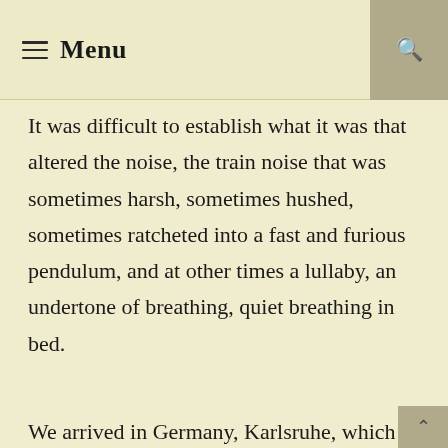≡ Menu
It was difficult to establish what it was that altered the noise, the train noise that was sometimes harsh, sometimes hushed, sometimes ratcheted into a fast and furious pendulum, and at other times a lullaby, an undertone of breathing, quiet breathing in bed.
We arrived in Germany, Karlsruhe, which in the dark was like all other cities, quite impossible to decipher. We were rushing through the night on our way to Stuttgart. Our train was now travelling at a pedestrian, non-TGV